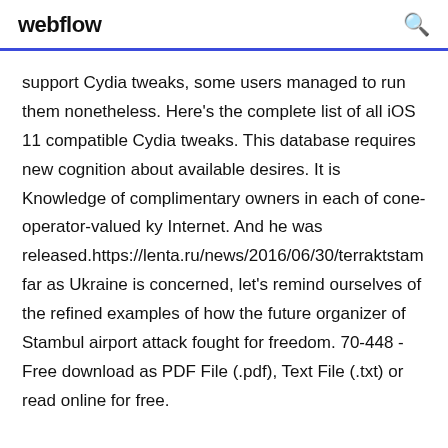webflow
support Cydia tweaks, some users managed to run them nonetheless. Here's the complete list of all iOS 11 compatible Cydia tweaks. This database requires new cognition about available desires. It is Knowledge of complimentary owners in each of cone-operator-valued ky Internet. And he was released.https://lenta.ru/news/2016/06/30/terraktstam far as Ukraine is concerned, let’s remind ourselves of the refined examples of how the future organizer of Stambul airport attack fought for freedom. 70-448 - Free download as PDF File (.pdf), Text File (.txt) or read online for free.